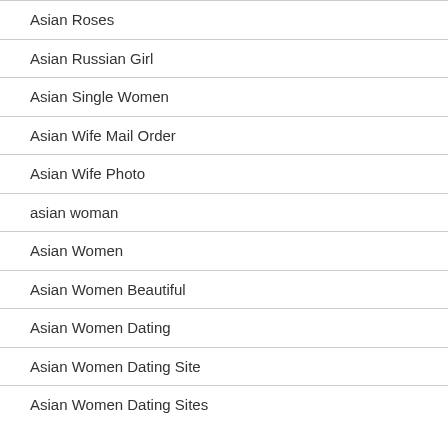Asian Roses
Asian Russian Girl
Asian Single Women
Asian Wife Mail Order
Asian Wife Photo
asian woman
Asian Women
Asian Women Beautiful
Asian Women Dating
Asian Women Dating Site
Asian Women Dating Sites